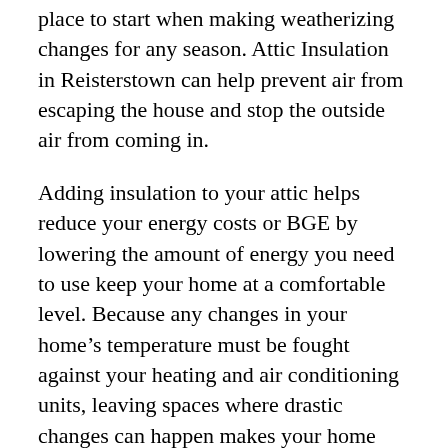place to start when making weatherizing changes for any season. Attic Insulation in Reisterstown can help prevent air from escaping the house and stop the outside air from coming in.
Adding insulation to your attic helps reduce your energy costs or BGE by lowering the amount of energy you need to use keep your home at a comfortable level. Because any changes in your home’s temperature must be fought against your heating and air conditioning units, leaving spaces where drastic changes can happen makes your home vulnerable to higher energy usage and costs.
Pro Handyman LLC experts can